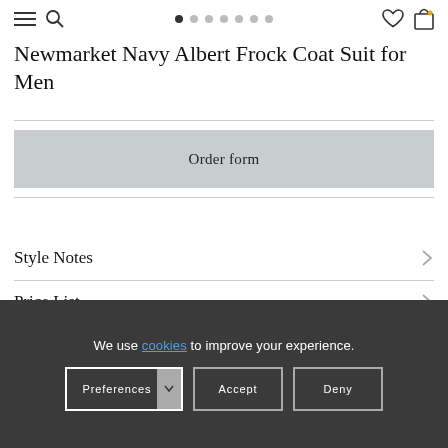Newmarket Navy Albert Frock Coat Suit for Men
Order form
Style Notes
Price List
We use cookies to improve your experience.
Preferences | Accept | Deny